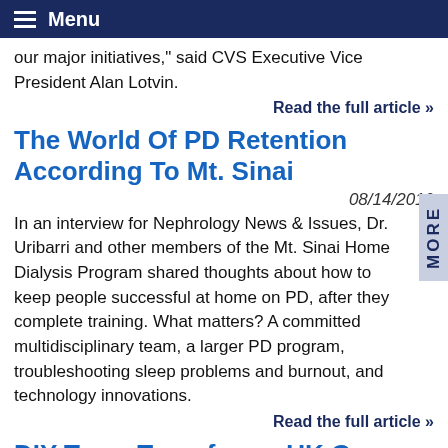Menu
our major initiatives," said CVS Executive Vice President Alan Lotvin.
Read the full article »
The World Of PD Retention According To Mt. Sinai
08/14/2019
In an interview for Nephrology News & Issues, Dr. Uribarri and other members of the Mt. Sinai Home Dialysis Program shared thoughts about how to keep people successful at home on PD, after they complete training. What matters? A committed multidisciplinary team, a larger PD program, troubleshooting sleep problems and burnout, and technology innovations.
Read the full article »
DIY Team Transforms UK Garage Into